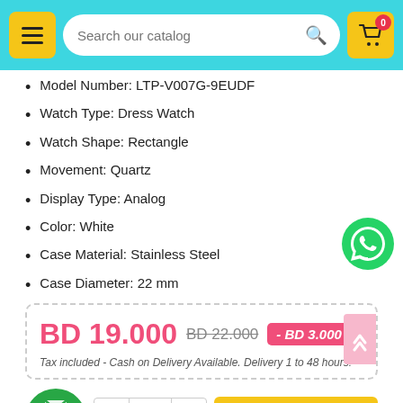Search our catalog
Model Number: LTP-V007G-9EUDF
Watch Type: Dress Watch
Watch Shape: Rectangle
Movement: Quartz
Display Type: Analog
Color: White
Case Material: Stainless Steel
Case Diameter: 22 mm
BD 19.000  BD 22.000  - BD 3.000
Tax included - Cash on Delivery Available. Delivery 1 to 48 hours!
ADD TO CART